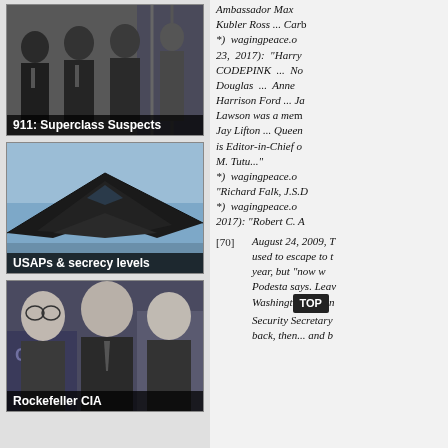[Figure (photo): Black and white photo of group of men in suits with flags, labeled '911: Superclass Suspects']
[Figure (photo): Photo of a stealth aircraft (F-117) against blue sky, labeled 'USAPs & secrecy levels']
[Figure (photo): Black and white photo of three men, labeled 'Rockefeller CIA']
Ambassador Max Kubler Ross ... Carl*) wagingpeace.o 23, 2017): "Harry CODEPINK ... No Douglas ... Anne Harrison Ford ... Ja Lawson was a mer Jay Lifton ... Queen is Editor-in-Chief o M. Tutu..." *) wagingpeace.o "Richard Falk, J.S.D *) wagingpeace.o 2017): "Robert C. A
[70] August 24, 2009, T used to escape to t year, but "now w Podesta says. Leav Washingt... n Security Secretary back then... and b